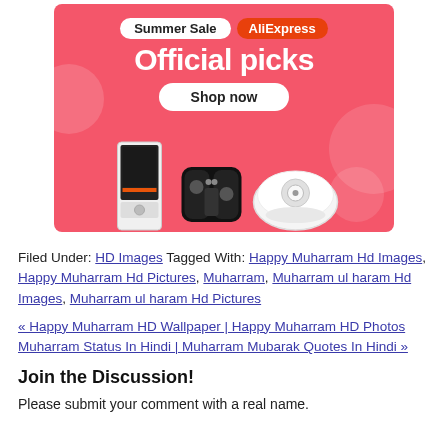[Figure (illustration): AliExpress Summer Sale advertisement banner. Pink/coral background with decorative bubbles. Top badges: 'Summer Sale' in white pill and 'AliExpress' in orange-red pill. Large white bold text 'Official picks'. White pill button 'Shop now'. Bottom shows product images: a tall white/black gaming PC case, a Nintendo Switch controller, and a white robot vacuum cleaner.]
Filed Under: HD Images Tagged With: Happy Muharram Hd Images, Happy Muharram Hd Pictures, Muharram, Muharram ul haram Hd Images, Muharram ul haram Hd Pictures
« Happy Muharram HD Wallpaper | Happy Muharram HD Photos Muharram Status In Hindi | Muharram Mubarak Quotes In Hindi »
Join the Discussion!
Please submit your comment with a real name.